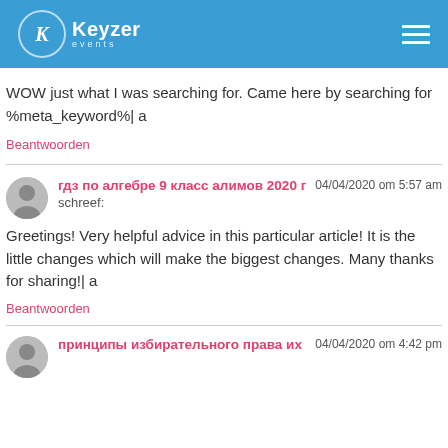Keyzer events
WOW just what I was searching for. Came here by searching for %meta_keyword%| a
Beantwoorden
гдз по алгебре 9 класс алимов 2020 г schreef:
04/04/2020 om 5:57 am
Greetings! Very helpful advice in this particular article! It is the little changes which will make the biggest changes. Many thanks for sharing!| a
Beantwoorden
принципы избирательного права их
04/04/2020 om 4:42 pm